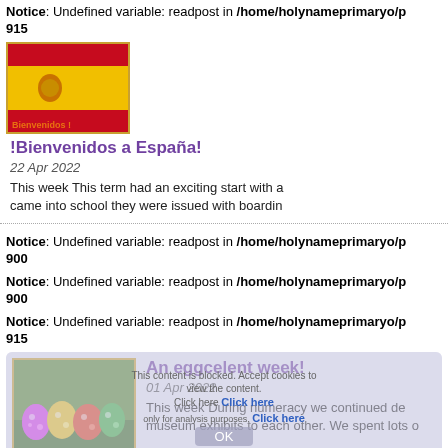Notice: Undefined variable: readpost in /home/holynameprimaryo/p 915
[Figure (photo): Spanish flag image with text 'Bienvenidos !' in orange at bottom]
!Bienvenidos a España!
22 Apr 2022
This week This term had an exciting start with a came into school they were issued with boardin
Notice: Undefined variable: readpost in /home/holynameprimaryo/p 900
Notice: Undefined variable: readpost in /home/holynameprimaryo/p 900
Notice: Undefined variable: readpost in /home/holynameprimaryo/p 915
[Figure (photo): Easter eggs - colorful eggs on grass]
An eggcelent week!
01 Apr 2022
This week  During numeracy we continued de museum exhibits to each other. We spent lots o